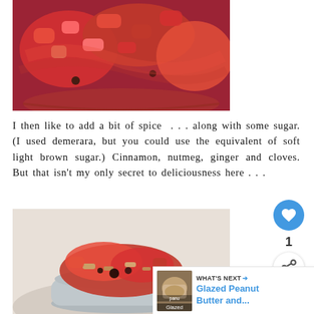[Figure (photo): Close-up photo of a red fruit crumble or stewed fruit dish with chunky pieces in a bowl, reddish-brown sauce visible]
I then like to add a bit of spice . . . along with some sugar. (I used demerara, but you could use the equivalent of soft light brown sugar.) Cinnamon, nutmeg, ginger and cloves. But that isn't my only secret to deliciousness here . . .
[Figure (photo): Close-up photo of a spoonful of red crumble or stewed fruit with oats and dark fruit pieces visible]
[Figure (other): Heart/like button icon (blue circle with white heart), count of 1, and share button]
1
WHAT'S NEXT → Glazed Peanut Butter and...